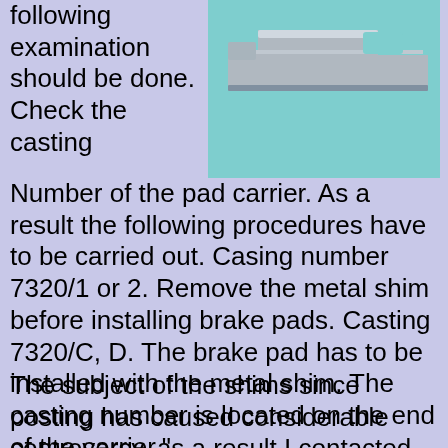following examination should be done. Check the casting
[Figure (photo): Close-up photograph of a metal brake pad carrier/shim component against a teal/blue background, showing the metal bracket shape with notches]
Number of the pad carrier. As a result the following procedures have to be carried out. Casing number 7320/1 or 2. Remove the metal shim before installing brake pads. Casting 7320/C, D. The brake pad has to be installed with the metal shim. The casting number is located on the end of the carrier." Unquote
The subject of the shims since posting has caused considerable controversy, as a result I contacted MB customer service and after